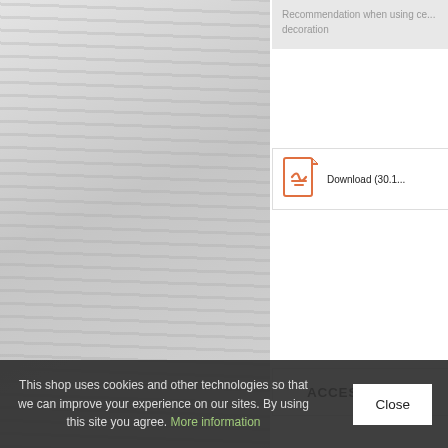Recommendation when using c... decoration
Download (30.1...
ACCESSORIES
[Figure (photo): Three white plastic jerry cans/containers with green labels, arranged together]
This shop uses cookies and other technologies so that we can improve your experience on our sites. By using this site you agree. More information
Close